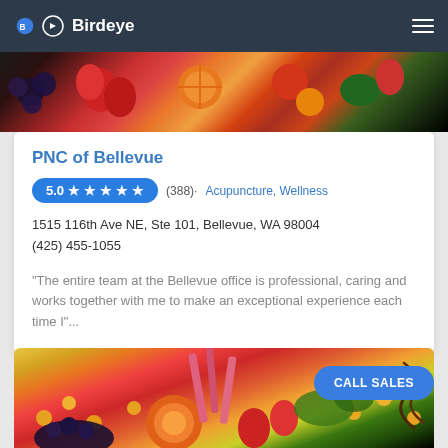Birdeye
[Figure (photo): Top food image strip showing colorful fruits including strawberries, oranges, blueberries, and greens]
PNC of Bellevue
5.0 ★ ★ ★ ★ ★ (388) · Acupuncture, Wellness
1515 116th Ave NE, Ste 101, Bellevue, WA 98004
(425) 455-1055
"The entire team at the Bellevue office is professional, caring and works together with me to make an exceptional experience each time I"...
[Figure (photo): Bottom food image strip showing colorful fruits including oranges, strawberries, kumquats, pink rhubarb, and green vegetables]
CALL SALES